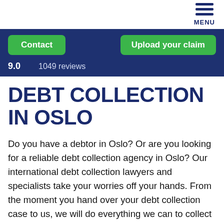MENU
Contact
Upload your claim
9.0    1049 reviews
DEBT COLLECTION IN OSLO
Do you have a debtor in Oslo? Or are you looking for a reliable debt collection agency in Oslo? Our international debt collection lawyers and specialists take your worries off your hands. From the moment you hand over your debt collection case to us, we will do everything we can to collect your money. We are specialized in debt recovery and have